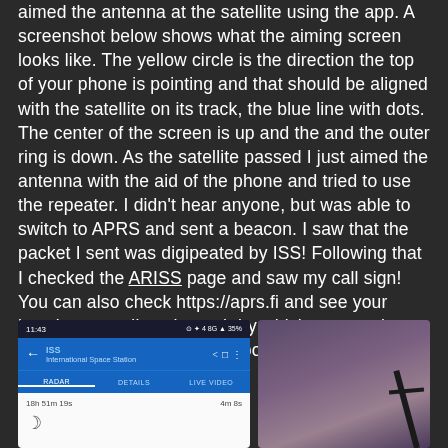aimed the antenna at the satellite using the app. A screenshot below shows what the aiming screen looks like. The yellow circle is the direction the top of your phone is pointing and that should be aligned with the satellite on its track, the blue line with dots. The center of the screen is up and the and the outer ring is down. As the satellite passed I just aimed the antenna with the aid of the phone and tried to use the repeater. I didn't hear anyone, but was able to switch to APRS and sent a beacon. I saw that the packet I sent was digipeated by ISS! Following that I checked the ARISS page and saw my call sign! You can also check https://aprs.fi and see your location as well as the path by which your packet arrived. The first hop for my position report was the ISS.
[Figure (screenshot): Screenshot of a satellite tracking app showing ISS (International Space Station) with tabs for RADAR, DETAILS, LIVE VIDEO. Shows time 11:43, 18h 51m 19s countdown, 4m 8s, with a moon icon.]
[Figure (photo): Outdoor photo showing a purplish-pink sky with a dark antenna or pole silhouette visible at the right edge.]